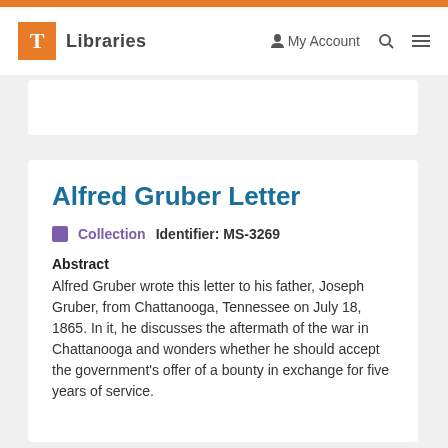T Libraries   My Account   Search   Menu
Alfred Gruber Letter
Collection   Identifier: MS-3269
Abstract
Alfred Gruber wrote this letter to his father, Joseph Gruber, from Chattanooga, Tennessee on July 18, 1865. In it, he discusses the aftermath of the war in Chattanooga and wonders whether he should accept the government's offer of a bounty in exchange for five years of service.